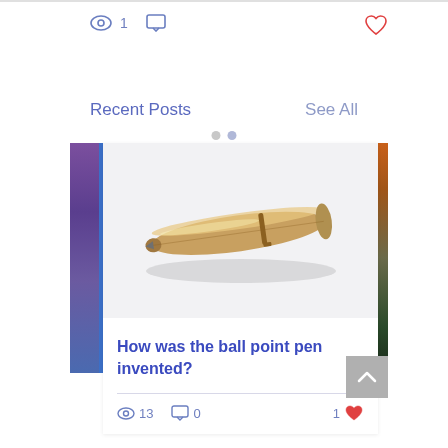1 [eye icon] [comment icon]
[heart icon]
Recent Posts    See All
[Figure (screenshot): Screenshot of a blog post card showing a gold ballpoint pen on a light gray background, with the title 'How was the ball point pen invented?', view count of 13, 0 comments, and 1 like.]
How was the ball point pen invented?
13 [eye] [comment] 0   1 [heart]